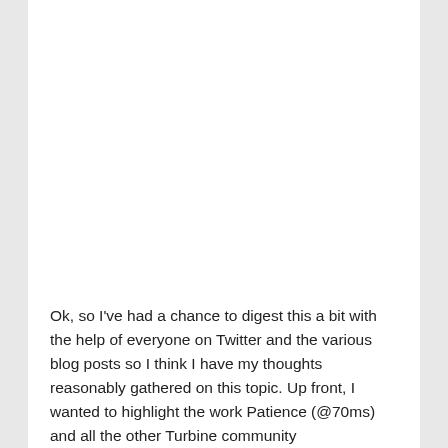Ok, so I've had a chance to digest this a bit with the help of everyone on Twitter and the various blog posts so I think I have my thoughts reasonably gathered on this topic.  Up front, I wanted to highlight the work Patience (@70ms) and all the other Turbine community